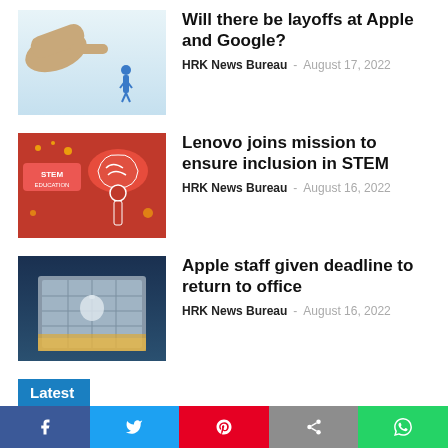[Figure (photo): Hand pointing at a small person figure, layoffs concept image]
Will there be layoffs at Apple and Google?
HRK News Bureau – August 17, 2022
[Figure (photo): STEM education graphic with brain and person silhouette in red]
Lenovo joins mission to ensure inclusion in STEM
HRK News Bureau – August 16, 2022
[Figure (photo): Apple store building exterior at night]
Apple staff given deadline to return to office
HRK News Bureau – August 16, 2022
Latest
[Figure (photo): Portrait of Suparna Basu, CPO and global head of HR at Acceleration Partners]
Acceleration Partners gets new CPO, global head – HR in Suparna Basu-